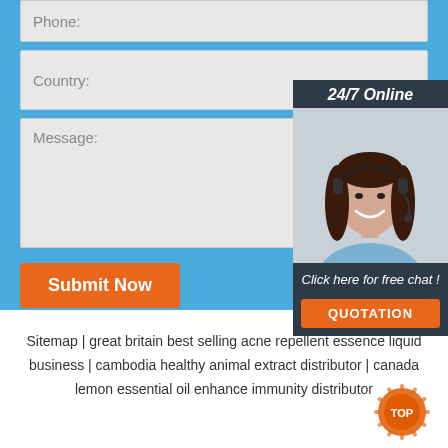Phone:
Country:
Message:
Submit Now
[Figure (photo): Chat widget with '24/7 Online' header, photo of smiling woman with headset, 'Click here for free chat!' text, and orange QUOTATION button]
Sitemap | great britain best selling acne repellent essence liquid business | cambodia healthy animal extract distributor | canada lemon essential oil enhance immunity distributor